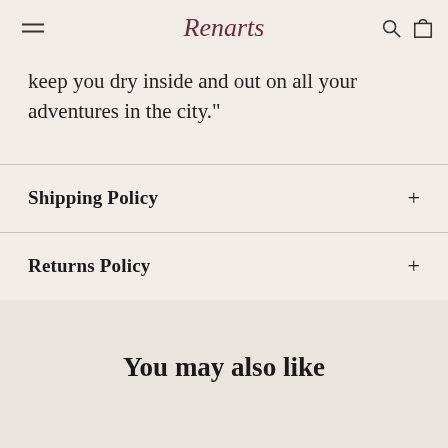Renarts
keep you dry inside and out on all your adventures in the city."
Shipping Policy
Returns Policy
You may also like